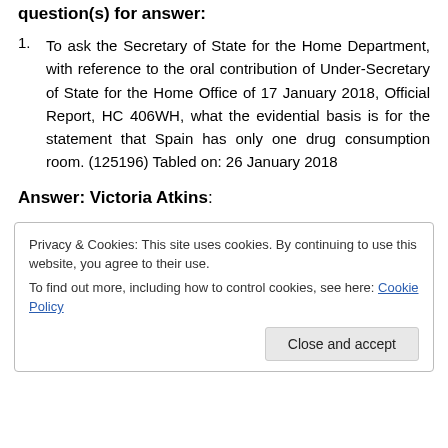question(s) for answer:
To ask the Secretary of State for the Home Department, with reference to the oral contribution of Under-Secretary of State for the Home Office of 17 January 2018, Official Report, HC 406WH, what the evidential basis is for the statement that Spain has only one drug consumption room. (125196) Tabled on: 26 January 2018
Answer: Victoria Atkins:
Privacy & Cookies: This site uses cookies. By continuing to use this website, you agree to their use.
To find out more, including how to control cookies, see here: Cookie Policy